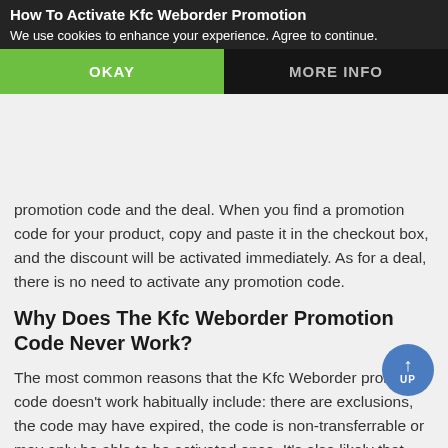How To Activate Kfc Weborder Promotion Codes
We use cookies to enhance your experience. Agree to continue.
OKAY
MORE INFO
promotion code and the deal. When you find a promotion code for your product, copy and paste it in the checkout box, and the discount will be activated immediately. As for a deal, there is no need to activate any promotion code.
Why Does The Kfc Weborder Promotion Code Never Work?
The most common reasons that the Kfc Weborder promotion code doesn't work habitually include: there are exclusions, the code may have expired, the code is non-transferrable or may only be able to be activated once. It's also likely that your purchase didn't meet the requirements of spending a certain amount.
How To Get More Kfc Weborder Deals